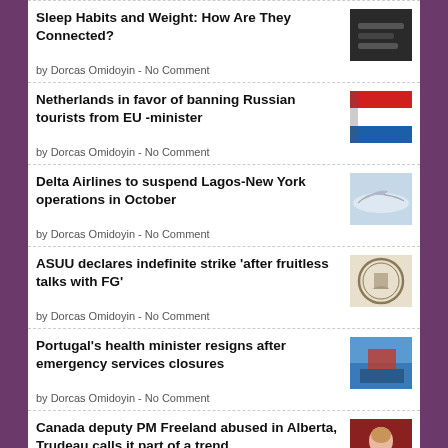Sleep Habits and Weight: How Are They Connected? by Dorcas Omidoyin - No Comment
Netherlands in favor of banning Russian tourists from EU -minister by Dorcas Omidoyin - No Comment
Delta Airlines to suspend Lagos-New York operations in October by Dorcas Omidoyin - No Comment
ASUU declares indefinite strike 'after fruitless talks with FG' by Dorcas Omidoyin - No Comment
Portugal's health minister resigns after emergency services closures by Dorcas Omidoyin - No Comment
Canada deputy PM Freeland abused in Alberta, Trudeau calls it part of a trend by Dorcas Omidoyin - No Comment
Tripoli calm, Libya riven after worst fighting in years